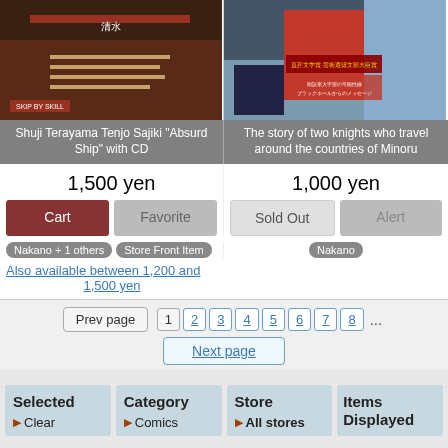[Figure (photo): Book cover for Shuji Terayama Tenjo Sajiki 'Absurd Ship' with CD - dark theatrical imagery]
Shuji Terayama Tenjo Sajiki "Absurd Ship" with CD
1,500 yen
Cart
Favorite
Nakano + 1 others
Store Front Item
Also available between 1,200 and 1,500 yen
[Figure (photo): Book cover for 'The story of two knights who travel around the countries of Minoru' - red and blue cover with Japanese text]
The story of two knights who travel around the countries of Minoru
1,000 yen
Sold Out
Alert
Nakano
Prev page  1  2  3  4  5  6  7  8  ...
Next page
Selected
Category
Store
Items Displayed
Clear
Comics
All stores